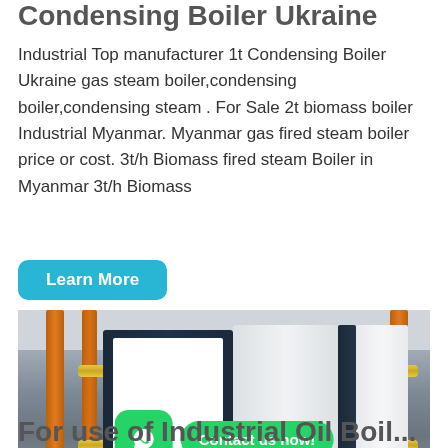Condensing Boiler Ukraine
Industrial Top manufacturer 1t Condensing Boiler Ukraine gas steam boiler,condensing boiler,condensing steam . For Sale 2t biomass boiler Industrial Myanmar. Myanmar gas fired steam boiler price or cost. 3t/h Biomass fired steam Boiler in Myanmar 3t/h Biomass
Learn More
[Figure (photo): Industrial condensing boiler units (dark navy and white) installed in a building with yellow/orange gas pipes running vertically and horizontally. Brand marking visible on units. WhatsApp contact button overlaid on photo.]
For use of Industrial Oil Boil...